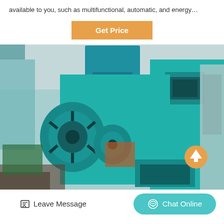available to you, such as multifunctional, automatic, and energy…
Get Price
[Figure (photo): Industrial teal/turquoise briquette press machine in a factory setting. Large mechanical rollers visible on the left side, tall rectangular main body in the center-right, industrial equipment and materials visible in the background.]
Leave Message
Chat Online